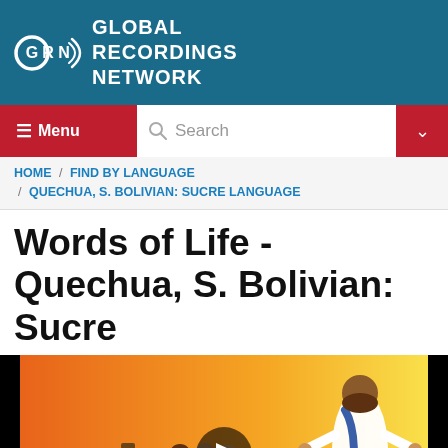Global Recordings Network
Menu | Search
HOME / FIND BY LANGUAGE / QUECHUA, S. BOLIVIAN: SUCRE LANGUAGE
Words of Life - Quechua, S. Bolivian: Sucre
[Figure (illustration): Video thumbnail showing cartoon illustration of diverse people walking toward Jesus figure, with a play button overlay. Warm orange/yellow gradient background.]